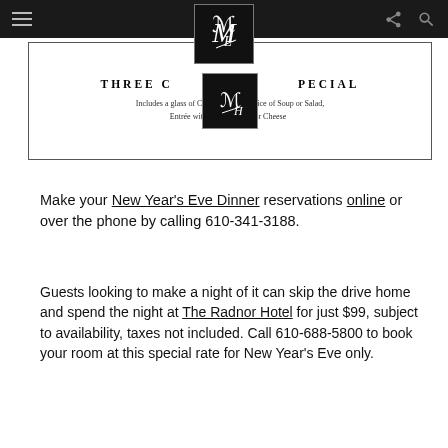Navigation bar with hamburger menu, ML logo, share and search icons
[Figure (other): Partial view of a THREE COURSE SPECIAL menu card with ML logo overlay. Text reads: 'Includes a glass of Ch[ampagne], [ch]oice of Soup or Salad, Entrée with two [sides], se[des]rt or Cheese [option]']
Make your New Year's Eve Dinner reservations online or over the phone by calling 610-341-3188.
Guests looking to make a night of it can skip the drive home and spend the night at The Radnor Hotel for just $99, subject to availability, taxes not included. Call 610-688-5800 to book your room at this special rate for New Year's Eve only.